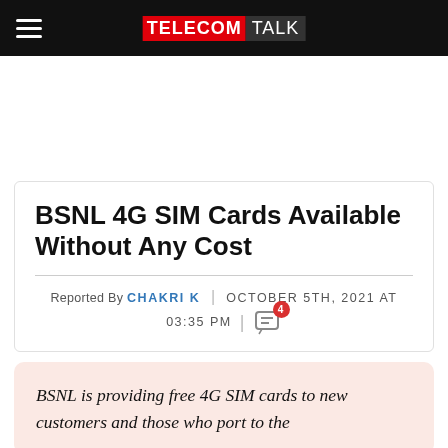TELECOMTALK
BSNL 4G SIM Cards Available Without Any Cost
Reported By CHAKRI K | OCTOBER 5TH, 2021 AT 03:35 PM | 4 comments
BSNL is providing free 4G SIM cards to new customers and those who port to the